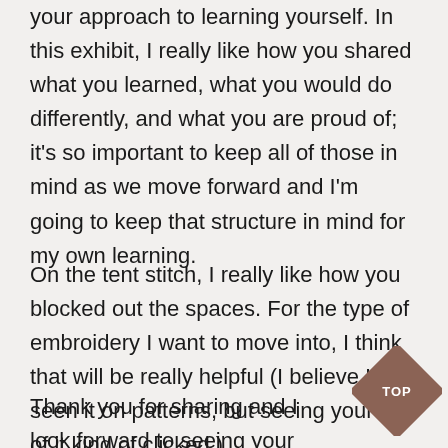your approach to learning yourself. In this exhibit, I really like how you shared what you learned, what you would do differently, and what you are proud of; it's so important to keep all of those in mind as we move forward and I'm going to keep that structure in mind for my own learning.

On the tent stitch, I really like how you blocked out the spaces. For the type of embroidery I want to move into, I think that will be really helpful (I believe I've seen it on patterns, but seeing your use of it kind of clicked.)

Thank you for sharing and I look forward to seeing your expertise grow!